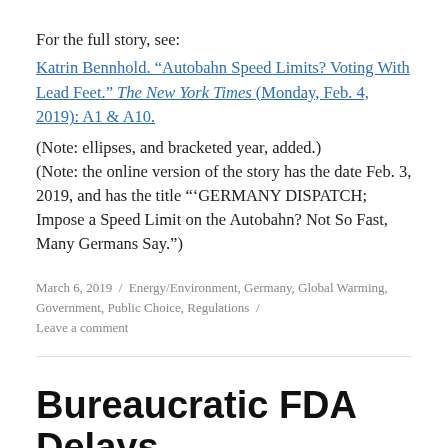For the full story, see:
Katrin Bennhold. “Autobahn Speed Limits? Voting With Lead Feet.” The New York Times (Monday, Feb. 4, 2019): A1 & A10.
(Note: ellipses, and bracketed year, added.) (Note: the online version of the story has the date Feb. 3, 2019, and has the title “‘GERMANY DISPATCH; Impose a Speed Limit on the Autobahn? Not So Fast, Many Germans Say.””)
March 6, 2019 / Energy/Environment, Germany, Global Warming, Government, Public Choice, Regulations / Leave a comment
Bureaucratic FDA Delays